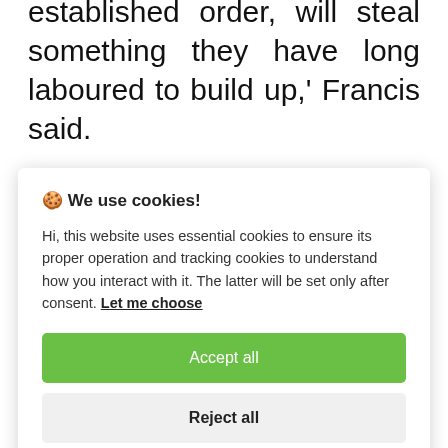established order, will steal something they have long laboured to build up,' Francis said.
While such fears are not a sin, said the spiritual leader of the world's 1.3 billion Roman Catholics, it is important for...
[Figure (screenshot): Cookie consent modal dialog with title '🍪 We use cookies!', body text about essential and tracking cookies, a 'Let me choose' link, an 'Accept all' green button, and a 'Reject all' grey button.]
refuse to encounter the other and raise